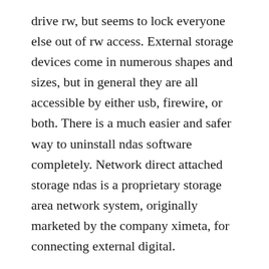drive rw, but seems to lock everyone else out of rw access. External storage devices come in numerous shapes and sizes, but in general they are all accessible by either usb, firewire, or both. There is a much easier and safer way to uninstall ndas software completely. Network direct attached storage ndas is a proprietary storage area network system, originally marketed by the company ximeta, for connecting external digital.
Loaded the supplied software on windows 7 but had difficulty with some administrator